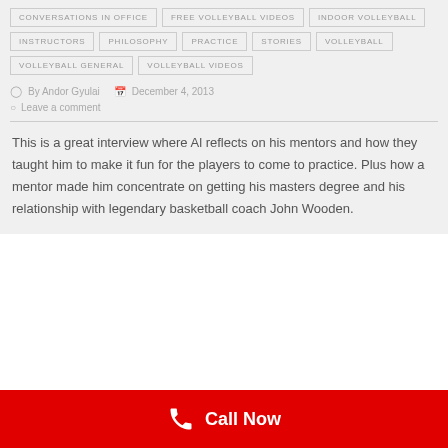CONVERSATIONS IN OFFICE
FREE VOLLEYBALL VIDEOS
INDOOR VOLLEYBALL
INSTRUCTORS
PHILOSOPHY
PRACTICE
STORIES
VOLLEYBALL
VOLLEYBALL GENERAL
VOLLEYBALL VIDEOS
By Andor Gyulai   December 4, 2013
Leave a comment
This is a great interview where Al reflects on his mentors and how they taught him to make it fun for the players to come to practice. Plus how a mentor made him concentrate on getting his masters degree and his relationship with legendary basketball coach John Wooden.
Call Now